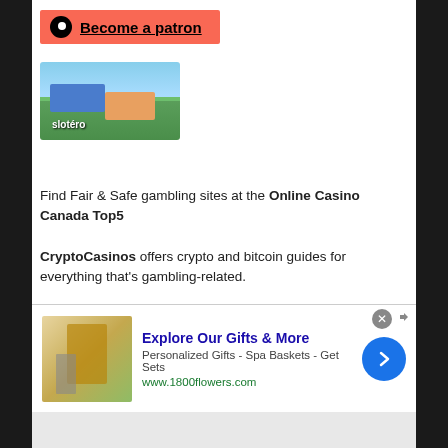[Figure (other): Patreon 'Become a patron' button with red background, Patreon logo circle icon, and underlined text]
[Figure (other): Advertisement banner image showing tropical beach scene with car and colorful items]
Find Fair & Safe gambling sites at the Online Casino Canada Top5
CryptoCasinos offers crypto and bitcoin guides for everything that's gambling-related.
[Figure (other): 1800flowers.com advertisement: 'Explore Our Gifts & More' with image of gift items, subtitle 'Personalized Gifts - Spa Baskets - Get Sets', URL www.1800flowers.com, blue arrow button, and X close button]